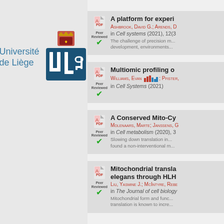[Figure (logo): Université de Liège (ULg) university logo with text and emblem]
A platform for experi... ASHBROOK, DAVID G.; ARENDS, D... in Cell systems (2021), 12(3... The challenge of precision m... development, environments...
Multiomic profiling o... WILLIAMS, EVAN; PFISTER,... in Cell Systems (2021)
A Conserved Mito-Cy... MOLENAARS, MARTE; JANSSENS, G... in Cell metabolism (2020), 3... Slowing down translation in... found a non-interventional m...
Mitochondrial transla... elegans through HLH... LIU, YASMINE J.; MCINTYRE, REBE... in The Journal of cell biology... Mitochondrial form and func... translation is known to incre...